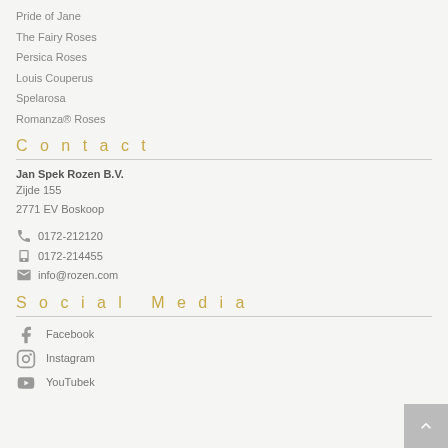Pride of Jane
The Fairy Roses
Persica Roses
Louis Couperus
Spelarosa
Romanza® Roses
Contact
Jan Spek Rozen B.V.
Zijde 155
2771 EV Boskoop
☎ 0172-212120
🖶 0172-214455
✉ info@rozen.com
Social Media
Facebook
Instagram
YouTubek